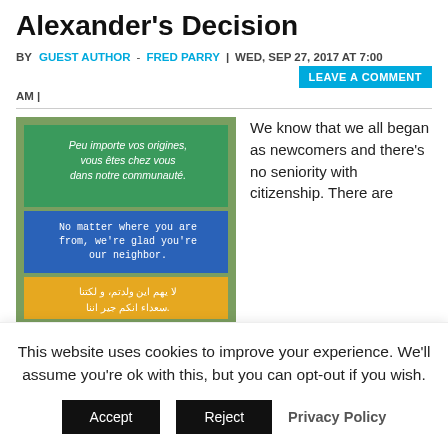Alexander's Decision
BY GUEST AUTHOR - FRED PARRY | WED, SEP 27, 2017 AT 7:00 AM | LEAVE A COMMENT
[Figure (photo): A multilingual sign with text in French, English, and Arabic welcoming neighbors regardless of origin. Green section: 'Peu importe vos origines, vous êtes chez vous dans notre communauté.' Blue section: 'No matter where you are from, we're glad you're our neighbor.' Orange section: Arabic text.]
We know that we all began as newcomers and there's no seniority with citizenship. There are short-term costs. But, how many would trade places with
This website uses cookies to improve your experience. We'll assume you're ok with this, but you can opt-out if you wish. Accept Reject Privacy Policy